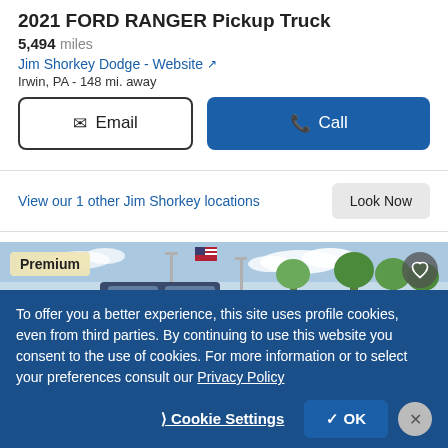2021 FORD RANGER Pickup Truck
5,494 miles
Jim Shorkey Dodge - Website
Irwin, PA - 148 mi. away
Email
Call
View our 1 other Jim Shorkey locations
Look Now
[Figure (photo): Photo of a 2021 Ford Ranger Pickup Truck in a dealership parking lot with trees and sky in background. Premium badge in upper left, heart/save button in upper right.]
To offer you a better experience, this site uses profile cookies, even from third parties. By continuing to use this website you consent to the use of cookies. For more information or to select your preferences consult our Privacy Policy
Cookie Settings
OK